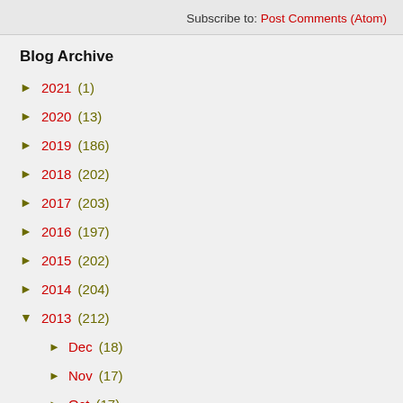Subscribe to: Post Comments (Atom)
Blog Archive
► 2021 (1)
► 2020 (13)
► 2019 (186)
► 2018 (202)
► 2017 (203)
► 2016 (197)
► 2015 (202)
► 2014 (204)
▼ 2013 (212)
► Dec (18)
► Nov (17)
► Oct (17)